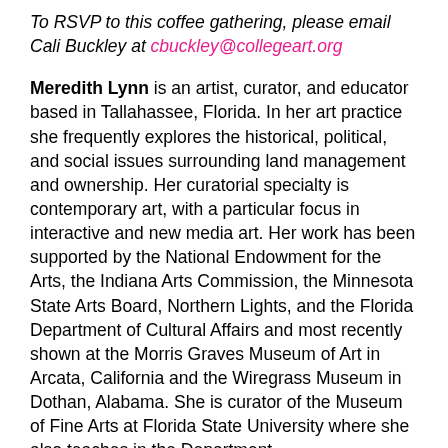To RSVP to this coffee gathering, please email Cali Buckley at cbuckley@collegeart.org
Meredith Lynn is an artist, curator, and educator based in Tallahassee, Florida. In her art practice she frequently explores the historical, political, and social issues surrounding land management and ownership. Her curatorial specialty is contemporary art, with a particular focus in interactive and new media art. Her work has been supported by the National Endowment for the Arts, the Indiana Arts Commission, the Minnesota State Arts Board, Northern Lights, and the Florida Department of Cultural Affairs and most recently shown at the Morris Graves Museum of Art in Arcata, California and the Wiregrass Museum in Dothan, Alabama. She is curator of the Museum of Fine Arts at Florida State University where she also teaches in the Department